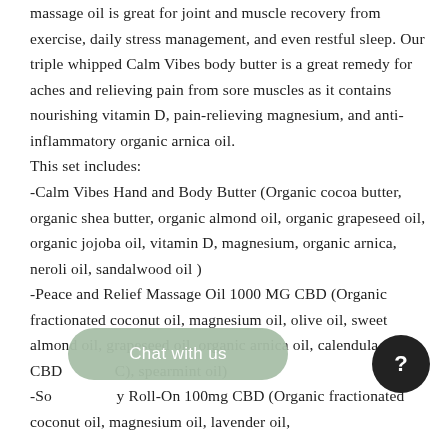massage oil is great for joint and muscle recovery from exercise, daily stress management, and even restful sleep. Our triple whipped Calm Vibes body butter is a great remedy for aches and relieving pain from sore muscles as it contains nourishing vitamin D, pain-relieving magnesium, and anti-inflammatory organic arnica oil.
This set includes:
-Calm Vibes Hand and Body Butter (Organic cocoa butter, organic shea butter, organic almond oil, organic grapeseed oil, organic jojoba oil, vitamin D, magnesium, organic arnica, neroli oil, sandalwood oil )
-Peace and Relief Massage Oil 1000 MG CBD (Organic fractionated coconut oil, magnesium oil, olive oil, sweet almond oil, grapeseed oil, organic arnica oil, calendula oil, CBD [obscured], spearmint oil)
-So[obscured] Roll-On 100mg CBD (Organic fractionated coconut oil, magnesium oil, lavender oil,
[Figure (other): Chat with us button (rounded pill shape, sage green) overlapping text, and a dark circular help/question mark button in the bottom right.]